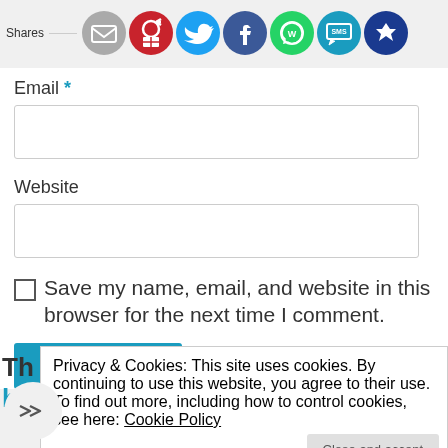[Figure (other): Social sharing icons row: Shares label, then circular icons for email (grey), Pinterest (red), Twitter (blue), Facebook (dark blue), WhatsApp (green), SMS (blue), and a crown icon (dark blue)]
Email *
Website
Save my name, email, and website in this browser for the next time I comment.
Post Comment
Privacy & Cookies: This site uses cookies. By continuing to use this website, you agree to their use.
To find out more, including how to control cookies, see here: Cookie Policy
Close and accept
Get Social with us: